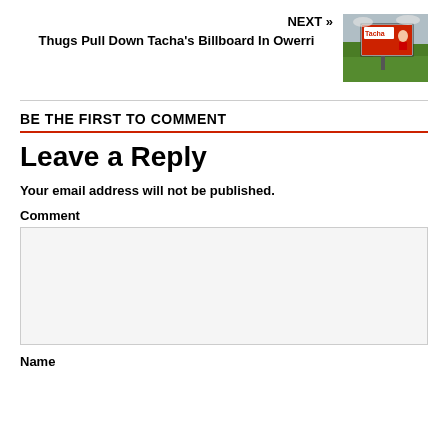NEXT »
Thugs Pull Down Tacha's Billboard In Owerri
[Figure (photo): Thumbnail photo of Tacha billboard being pulled down in Owerri]
BE THE FIRST TO COMMENT
Leave a Reply
Your email address will not be published.
Comment
Name